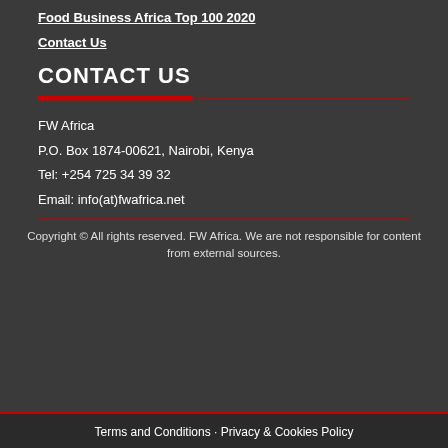Food Business Africa Top 100 2020
Contact Us
CONTACT US
FW Africa
P.O. Box 1874-00621, Nairobi, Kenya
Tel: +254 725 34 39 32
Email: info(at)fwafrica.net
Copyright © All rights reserved. FW Africa. We are not responsible for content from external sources.
Terms and Conditions · Privacy & Cookies Policy